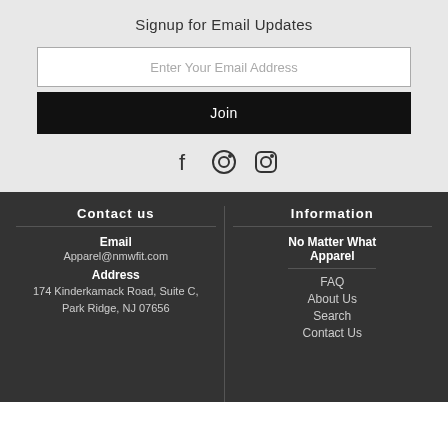Signup for Email Updates
Enter Your Email Address
Join
[Figure (other): Social media icons: Facebook, Pinterest, Instagram]
Contact us
Information
Email
Apparel@nmwfit.com
Address
174 Kinderkamack Road, Suite C, Park Ridge, NJ 07656
No Matter What Apparel
FAQ
About Us
Search
Contact Us